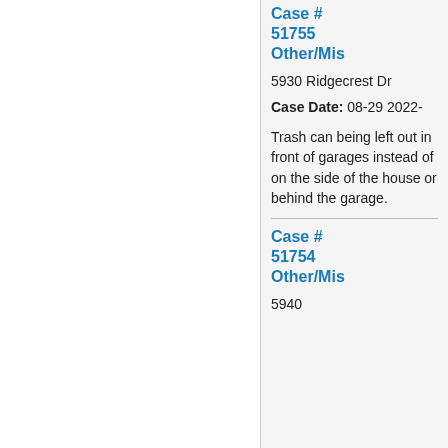Case # 51755 Other/Mis
5930 Ridgecrest Dr
Case Date: 08-29 2022-
Trash can being left out in front of garages instead of on the side of the house or behind the garage.
Case # 51754 Other/Mis
5940